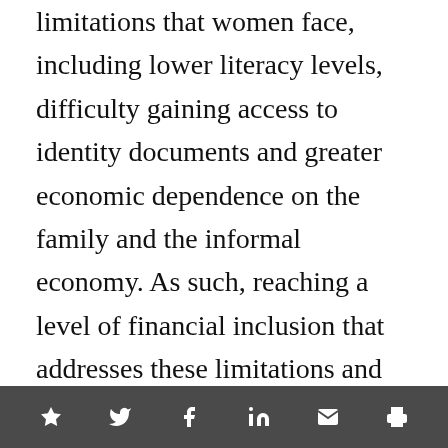limitations that women face, including lower literacy levels, difficulty gaining access to identity documents and greater economic dependence on the family and the informal economy. As such, reaching a level of financial inclusion that addresses these limitations and achieves substantive change will also be complex, depending on factors such as the complementarity of services, access to diverse opportunities, and the flexibility of gendered social norms.
Social share/bookmark icons: star, twitter, facebook, linkedin, email, print